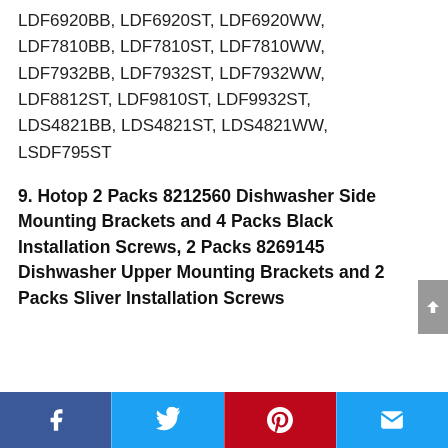LDF6920BB, LDF6920ST, LDF6920WW, LDF7810BB, LDF7810ST, LDF7810WW, LDF7932BB, LDF7932ST, LDF7932WW, LDF8812ST, LDF9810ST, LDF9932ST, LDS4821BB, LDS4821ST, LDS4821WW, LSDF795ST
9. Hotop 2 Packs 8212560 Dishwasher Side Mounting Brackets and 4 Packs Black Installation Screws, 2 Packs 8269145 Dishwasher Upper Mounting Brackets and 2 Packs Sliver Installation Screws